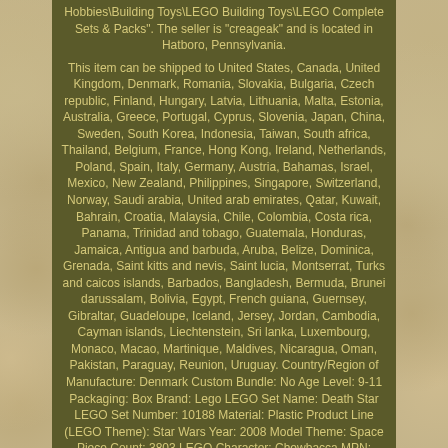Hobbies\Building Toys\LEGO Building Toys\LEGO Complete Sets & Packs". The seller is "creageak" and is located in Hatboro, Pennsylvania.
This item can be shipped to United States, Canada, United Kingdom, Denmark, Romania, Slovakia, Bulgaria, Czech republic, Finland, Hungary, Latvia, Lithuania, Malta, Estonia, Australia, Greece, Portugal, Cyprus, Slovenia, Japan, China, Sweden, South Korea, Indonesia, Taiwan, South africa, Thailand, Belgium, France, Hong Kong, Ireland, Netherlands, Poland, Spain, Italy, Germany, Austria, Bahamas, Israel, Mexico, New Zealand, Philippines, Singapore, Switzerland, Norway, Saudi arabia, United arab emirates, Qatar, Kuwait, Bahrain, Croatia, Malaysia, Chile, Colombia, Costa rica, Panama, Trinidad and tobago, Guatemala, Honduras, Jamaica, Antigua and barbuda, Aruba, Belize, Dominica, Grenada, Saint kitts and nevis, Saint lucia, Montserrat, Turks and caicos islands, Barbados, Bangladesh, Bermuda, Brunei darussalam, Bolivia, Egypt, French guiana, Guernsey, Gibraltar, Guadeloupe, Iceland, Jersey, Jordan, Cambodia, Cayman islands, Liechtenstein, Sri lanka, Luxembourg, Monaco, Macao, Martinique, Maldives, Nicaragua, Oman, Pakistan, Paraguay, Reunion, Uruguay. Country/Region of Manufacture: Denmark Custom Bundle: No Age Level: 9-11 Packaging: Box Brand: Lego LEGO Set Name: Death Star LEGO Set Number: 10188 Material: Plastic Product Line (LEGO Theme): Star Wars Year: 2008 Model Theme: Space Piece Count: 3803 LEGO Character: Chewbacca MPN: 10188